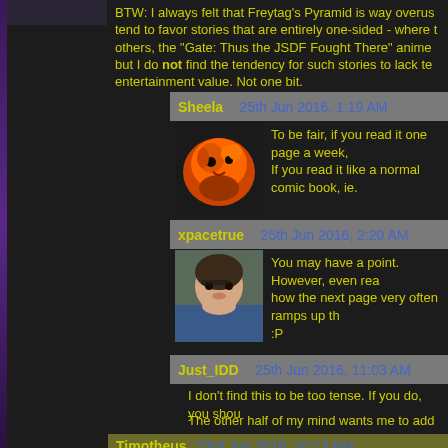BTW: I always felt that Freytag's Pyramid is way overus... tend to favor stories that are entirely one-sided - where t... others, the "Gate: Thus the JSDF Fought There" anime ... but I do not find the tendency for such stories to lack te... entertainment value. Not one bit.
Sheela   25th Jun 2016, 1:19 AM
To be fair, if you read it one page a week, ... If you read it like a normal comic book, ie.
xpacetrue   25th Jun 2016, 2:20 AM
You may have a point. However, even re... how the next page very often ramps up th... :P
Just_IDD   25th Jun 2016, 11:03 AM
I don't find this to be too tense. If you do, you shou...
The other half of my mind wants me to add that if y... end this comment now because I am a bicycle...eg...
Timotheus   23rd Jun 2016, 10:13 PM